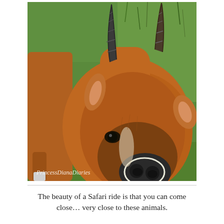[Figure (photo): Close-up photograph of a waterbuck or similar antelope with long ridged horns, reddish-brown fur, and dark muzzle, standing on green grass. Watermark reads 'PrincessDianaDiaries' in bottom-left corner.]
The beauty of a Safari ride is that you can come close… very close to these animals.